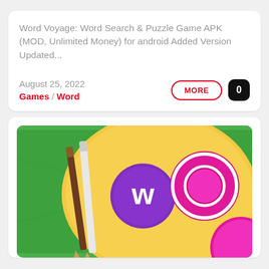Word Voyage: Word Search & Puzzle Game APK (MOD, Unlimited Money) for android Added Version Updated...
August 25, 2022
Games / Word
[Figure (illustration): Word game app icon/screenshot showing colorful bubble letters spelling WORD on a yellow circular background with green leaf texture behind, and pencils on the left side. Purple bubble with letter W and pink/magenta bubbles with letter O visible prominently.]